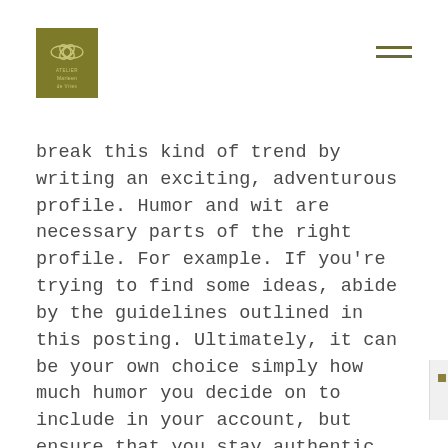[Figure (logo): Atelier Marleen de Vries logo — olive/khaki square with decorative emblem and text]
break this kind of trend by writing an exciting, adventurous profile. Humor and wit are necessary parts of the right profile. For example. If you’re trying to find some ideas, abide by the guidelines outlined in this posting. Ultimately, it can be your own choice simply how much humor you decide on to include in your account, but ensure that you stay authentic and original within your style.
Do not too desperate or arrogant. Whether you are a heavy opium person or a great alcoholic, your headline must not scream “Please Love Me personally!” This headline might immediately place the other person off and definitely will leave